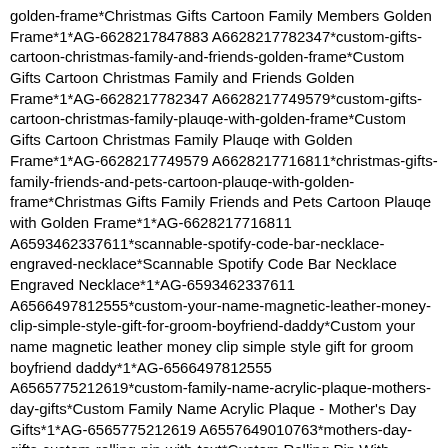golden-frame*Christmas Gifts Cartoon Family Members Golden Frame*1*AG-6628217847883 A6628217782347*custom-gifts-cartoon-christmas-family-and-friends-golden-frame*Custom Gifts Cartoon Christmas Family and Friends Golden Frame*1*AG-6628217782347 A6628217749579*custom-gifts-cartoon-christmas-family-plauqe-with-golden-frame*Custom Gifts Cartoon Christmas Family Plauqe with Golden Frame*1*AG-6628217749579 A6628217716811*christmas-gifts-family-friends-and-pets-cartoon-plauqe-with-golden-frame*Christmas Gifts Family Friends and Pets Cartoon Plauqe with Golden Frame*1*AG-6628217716811 A6593462337611*scannable-spotify-code-bar-necklace-engraved-necklace*Scannable Spotify Code Bar Necklace Engraved Necklace*1*AG-6593462337611 A6566497812555*custom-your-name-magnetic-leather-money-clip-simple-style-gift-for-groom-boyfriend-daddy*Custom your name magnetic leather money clip simple style gift for groom boyfriend daddy*1*AG-6566497812555 A6565775212619*custom-family-name-acrylic-plaque-mothers-day-gifts*Custom Family Name Acrylic Plaque - Mother's Day Gifts*1*AG-6565775212619 A6557649010763*mothers-day-gifts-custom-rolling-pin-with-text*Custom Rolling Pin With Text*1*AG-6557649010763 A6556084371531*multiple-birds-suncatcher-window-hanging-